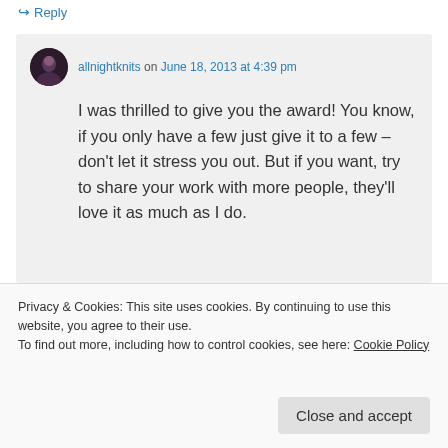↪ Reply
allnightknits on June 18, 2013 at 4:39 pm
I was thrilled to give you the award! You know, if you only have a few just give it to a few – don't let it stress you out. But if you want, try to share your work with more people, they'll love it as much as I do.
Privacy & Cookies: This site uses cookies. By continuing to use this website, you agree to their use. To find out more, including how to control cookies, see here: Cookie Policy